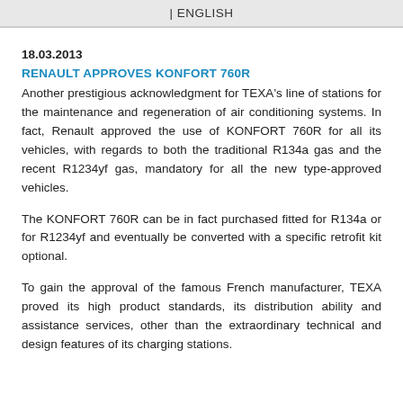| ENGLISH
18.03.2013
RENAULT APPROVES KONFORT 760R
Another prestigious acknowledgment for TEXA's line of stations for the maintenance and regeneration of air conditioning systems. In fact, Renault approved the use of KONFORT 760R for all its vehicles, with regards to both the traditional R134a gas and the recent R1234yf gas, mandatory for all the new type-approved vehicles.
The KONFORT 760R can be in fact purchased fitted for R134a or for R1234yf and eventually be converted with a specific retrofit kit optional.
To gain the approval of the famous French manufacturer, TEXA proved its high product standards, its distribution ability and assistance services, other than the extraordinary technical and design features of its charging stations.